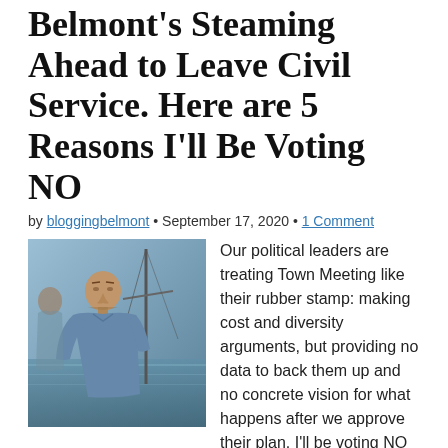Belmont's Steaming Ahead to Leave Civil Service. Here are 5 Reasons I'll Be Voting NO
by bloggingbelmont • September 17, 2020 • 1 Comment
[Figure (photo): A man in a blue shirt standing near water with a mast/pole visible in the background]
Our political leaders are treating Town Meeting like their rubber stamp: making cost and diversity arguments, but providing no data to back them up and no concrete vision for what happens after we approve their plan. I'll be voting NO and ask you to join me.
Read more →
Share this: